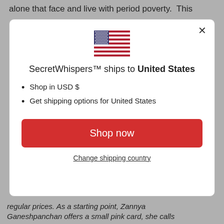alone that face and live with period poverty.  This
[Figure (illustration): US flag emoji/icon]
SecretWhispers™ ships to United States
Shop in USD $
Get shipping options for United States
Shop now
Change shipping country
regular prices. As a starting point, Zannya Ganeshpanchan offers a small pink card, she calls